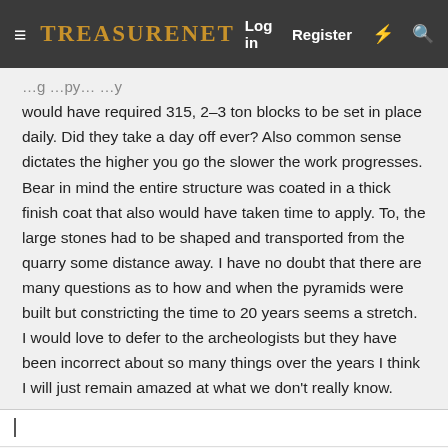TreasureNet  Log in  Register
would have required 315, 2–3 ton blocks to be set in place daily. Did they take a day off ever? Also common sense dictates the higher you go the slower the work progresses. Bear in mind the entire structure was coated in a thick finish coat that also would have taken time to apply. To, the large stones had to be shaped and transported from the quarry some distance away. I have no doubt that there are many questions as to how and when the pyramids were built but constricting the time to 20 years seems a stretch. I would love to defer to the archeologists but they have been incorrect about so many things over the years I think I will just remain amazed at what we don't really know.
Sandog